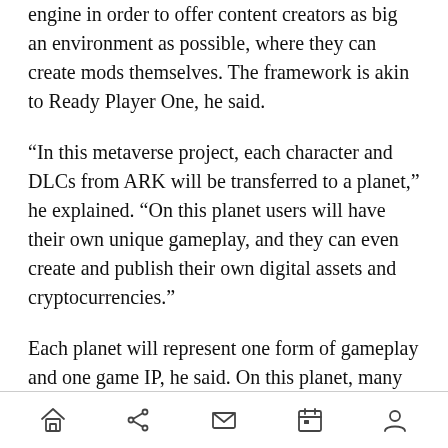engine in order to offer content creators as big an environment as possible, where they can create mods themselves. The framework is akin to Ready Player One, he said.
“In this metaverse project, each character and DLCs from ARK will be transferred to a planet,” he explained. “On this planet users will have their own unique gameplay, and they can even create and publish their own digital assets and cryptocurrencies.”
Each planet will represent one form of gameplay and one game IP, he said. On this planet, many digital assets will belong to content creators, but some of them might belong to other companies or
home share mail calendar profile